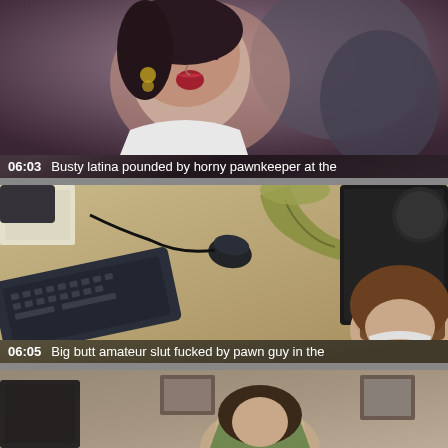[Figure (photo): Video thumbnail: woman with dark hair, eyes closed, mouth open, wearing white top. Desk/office background.]
06:03   Busty latina pounded by horny pawnkeeper at the
[Figure (photo): Video thumbnail: desk with computer keyboard, mouse, trumpet/horn instrument, and woman with long brown hair in lower right.]
06:05   Big butt amateur slut fucked by pawn guy in the
[Figure (photo): Video thumbnail: partial view of shop/office interior with woman in floral top visible.]